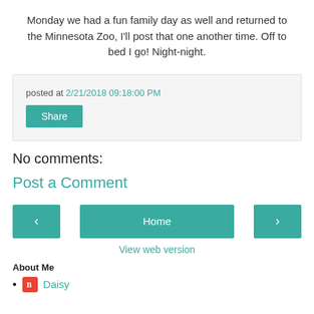Monday we had a fun family day as well and returned to the Minnesota Zoo, I'll post that one another time. Off to bed I go! Night-night.
posted at 2/21/2018 09:18:00 PM
Share
No comments:
Post a Comment
Home
View web version
About Me
Daisy